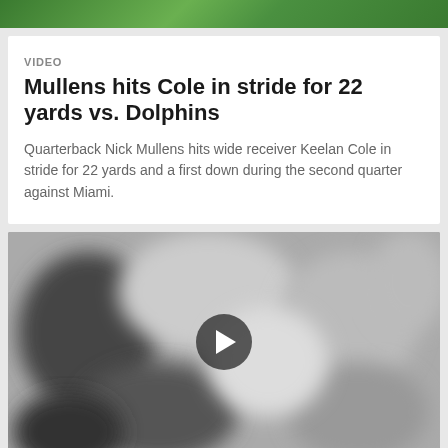[Figure (photo): Top banner image showing football players on a green field, cropped at the top of the page]
VIDEO
Mullens hits Cole in stride for 22 yards vs. Dolphins
Quarterback Nick Mullens hits wide receiver Keelan Cole in stride for 22 yards and a first down during the second quarter against Miami.
[Figure (photo): Blurred grayscale video thumbnail of football players with a play button overlay in the center]
VIDEO